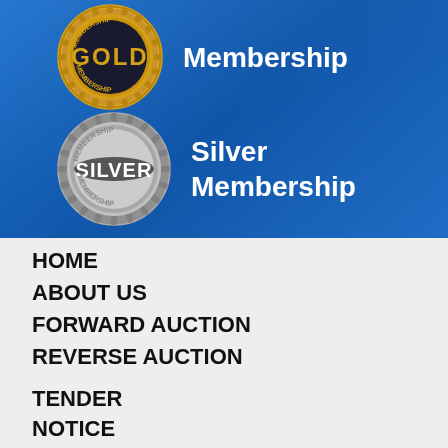[Figure (illustration): Blue background section with Gold Membership badge (circular gold seal with GOLD text and MEMBERSHIP around it) and Silver Membership badge (circular silver seal with SILVER text and MEMBERSHIP around it), each with corresponding white text labels]
Membership
Silver Membership
HOME
ABOUT US
FORWARD AUCTION
REVERSE AUCTION
TENDER
NOTICE
BUY